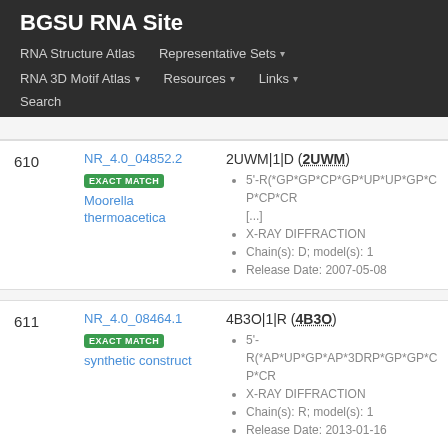BGSU RNA Site
RNA Structure Atlas | Representative Sets | RNA 3D Motif Atlas | Resources | Links | Search
| # | ID / Organism | Structure Info |
| --- | --- | --- |
| 610 | NR_4.0_04852.2 EXACT MATCH Moorella thermoacetica | 2UWM|1|D (2UWM) • 5'-R(*GP*GP*CP*GP*UP*UP*GP*CP*CP*CR[...] • X-RAY DIFFRACTION • Chain(s): D; model(s): 1 • Release Date: 2007-05-08 |
| 611 | NR_4.0_08464.1 EXACT MATCH synthetic construct | 4B3O|1|R (4B3O) • 5'-R(*AP*UP*GP*AP*3DRP*GP*GP*CP*CR • X-RAY DIFFRACTION • Chain(s): R; model(s): 1 • Release Date: 2013-01-16 |